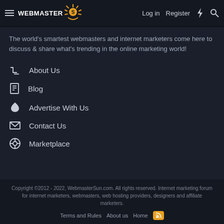WEBMASTER SUN | Log in | Register
The world's smartest webmasters and internet marketers come here to discuss & share what's trending in the online marketing world!
About Us
Blog
Advertise With Us
Contact Us
Marketplace
Copyright ©2012 - 2022, WebmasterSun.com. All rights reserved. Internet marketing forum for internet marketers, webmasters, web hosting providers, designers and affiliate marketers. | Terms and Rules | About us | Home